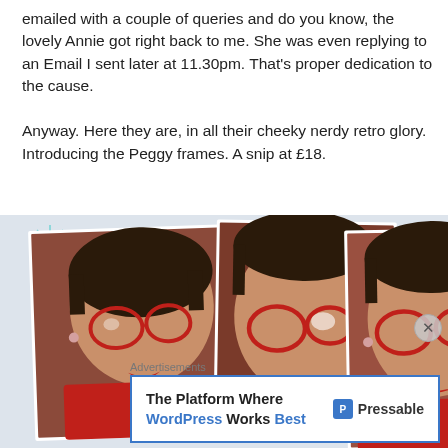emailed with a couple of queries and do you know, the lovely Annie got right back to me. She was even replying to an Email I sent later at 11.30pm. That's proper dedication to the cause.

Anyway. Here they are, in all their cheeky nerdy retro glory. Introducing the Peggy frames. A snip at £18.
[Figure (photo): Collage of three photos of a woman wearing red cat-eye glasses (Peggy frames) and a red top, arranged with decorative retro sparkle star graphics on a light blue/grey background.]
Advertisements
The Platform Where WordPress Works Best — Pressable